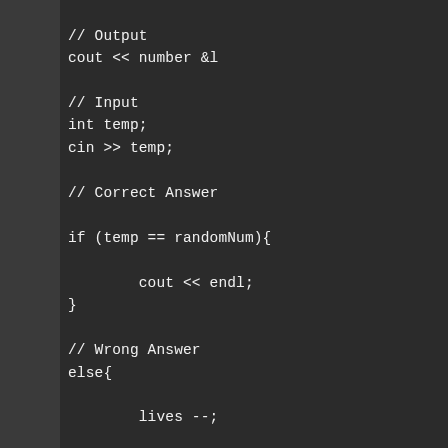// Output
cout &lt;&lt; number &l

// Input
int temp;
cin &gt;&gt; temp;

// Correct Answer

if (temp == randomNum){

        cout &lt;&lt; endl;
}

// Wrong Answer
else{

        lives --;